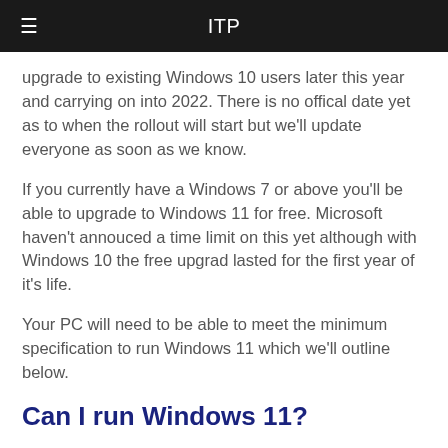ITP
upgrade to existing Windows 10 users later this year and carrying on into 2022. There is no offical date yet as to when the rollout will start but we'll update everyone as soon as we know.
If you currently have a Windows 7 or above you'll be able to upgrade to Windows 11 for free. Microsoft haven't annouced a time limit on this yet although with Windows 10 the free upgrad lasted for the first year of it's life.
Your PC will need to be able to meet the minimum specification to run Windows 11 which we'll outline below.
Can I run Windows 11?
Below is a link to the official spec from Microsoft to run Windows 11. If you aren't sure about anything please let us know and we'll be able to help.